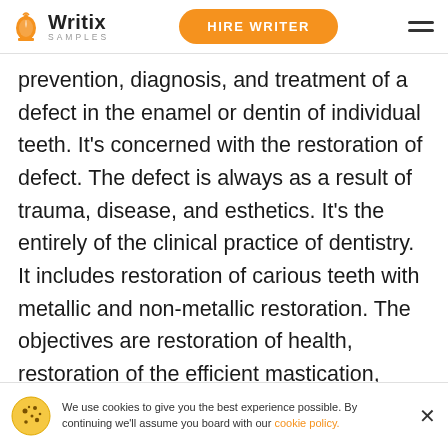Writix SAMPLES | HIRE WRITER
prevention, diagnosis, and treatment of a defect in the enamel or dentin of individual teeth. It's concerned with the restoration of defect. The defect is always as a result of trauma, disease, and esthetics. It's the entirely of the clinical practice of dentistry. It includes restoration of carious teeth with metallic and non-metallic restoration. The objectives are restoration of health, restoration of the efficient mastication, restoration of esthetics, and restoration of normal occlusion. 85% of the patient need to conservative treatment due to dental caries. GV Black is the father of operative den…
We use cookies to give you the best experience possible. By continuing we'll assume you board with our cookie policy.